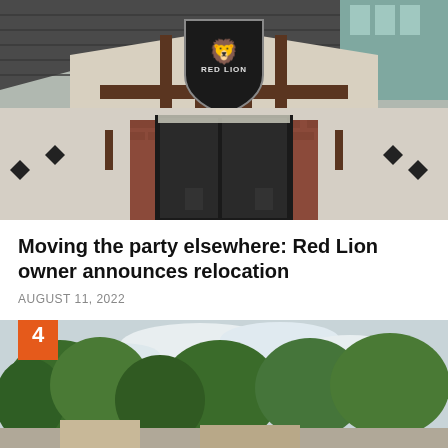[Figure (photo): Exterior of Red Lion bar/restaurant showing a Tudor-style facade with a Red Lion shield sign above the entrance, brick lower walls, dark wood trim, and black doors.]
Moving the party elsewhere: Red Lion owner announces relocation
AUGUST 11, 2022
[Figure (photo): Outdoor photo showing trees against a partly cloudy sky, with a building partially visible at the bottom. An orange badge with the number 4 appears in the top-left corner.]